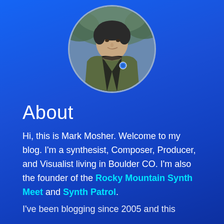[Figure (photo): Circular profile photo of a middle-aged man wearing a dark shirt and olive jacket, outdoors with blurred background]
About
Hi, this is Mark Mosher. Welcome to my blog. I'm a synthesist, Composer, Producer, and Visualist living in Boulder CO. I'm also the founder of the Rocky Mountain Synth Meet and Synth Patrol.
I've been blogging since 2005 and this